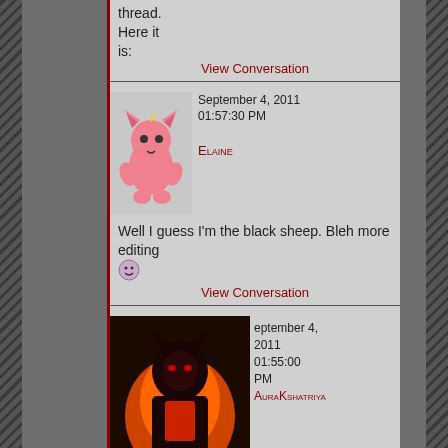thread. Here it is:
View Conversation
September 4, 2011 01:57:30 PM
Elaine
Well I guess I'm the black sheep. Bleh more editing
View Conversation
September 4, 2011 01:55:00 PM
AuraKshatriya
Alright, I'll just